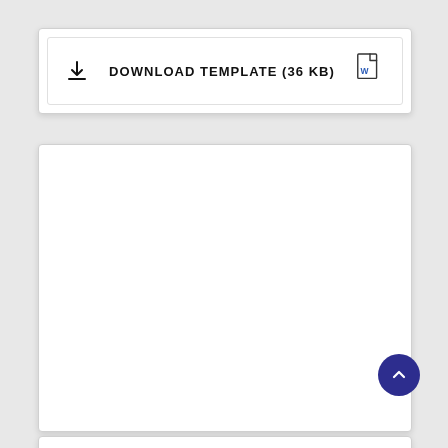[Figure (screenshot): Download template button card with download icon on the left, text 'DOWNLOAD TEMPLATE (36 KB)' in the center, and a Word document icon on the right]
[Figure (screenshot): Large white card area, mostly blank/empty content area]
[Figure (screenshot): Scroll-to-top circular dark blue button with upward chevron arrow, positioned bottom-right]
[Figure (screenshot): Partial bottom card visible at the very bottom of the page]